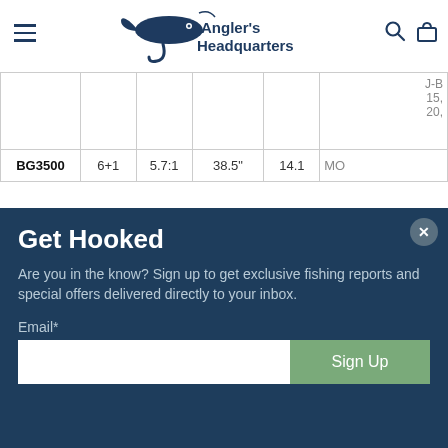Angler's Headquarters
| Model | Ball Bearings | Gear Ratio | Line Retrieve | Weight (oz) | Line Capacity |
| --- | --- | --- | --- | --- | --- |
|  |  |  |  |  | J-B
15,
20, |
| BG3500 | 6+1 | 5.7:1 | 38.5" | 14.1 | MO |
Get Hooked
Are you in the know? Sign up to get exclusive fishing reports and special offers delivered directly to your inbox.
Email*